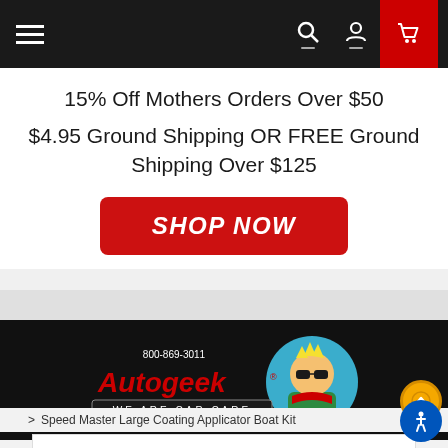Navigation bar with hamburger menu, search, account, and cart icons
15% Off Mothers Orders Over $50
$4.95 Ground Shipping OR FREE Ground Shipping Over $125
SHOP NOW
[Figure (logo): Autogeek logo with cartoon mascot, 800-869-3011, WE ARE CAR CARE tagline]
> Speed Master Large Coating Applicator Boat Kit